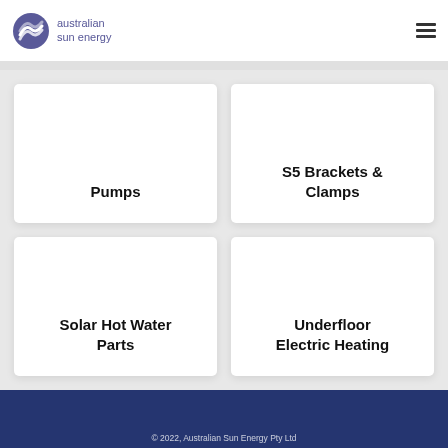[Figure (logo): Australian Sun Energy logo with purple wave icon and text]
Pumps
S5 Brackets & Clamps
Solar Hot Water Parts
Underfloor Electric Heating
© 2022, Australian Sun Energy Pty Ltd